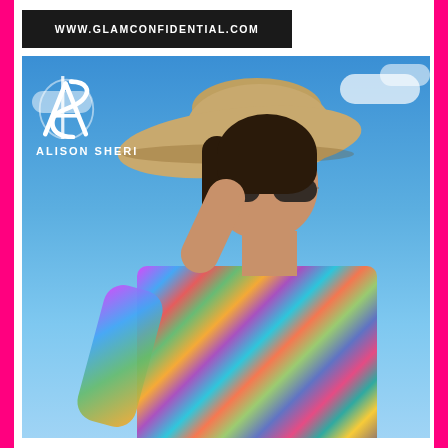WWW.GLAMCONFIDENTIAL.COM
[Figure (photo): Fashion advertisement photo for Alison Sheri brand. A female model wearing a wide-brim straw hat, oversized sunglasses, and a colorful multi-pattern top, photographed against a blue sky. The Alison Sheri logo (stylized 'AS' monogram and brand name) appears in the top-left corner of the image.]